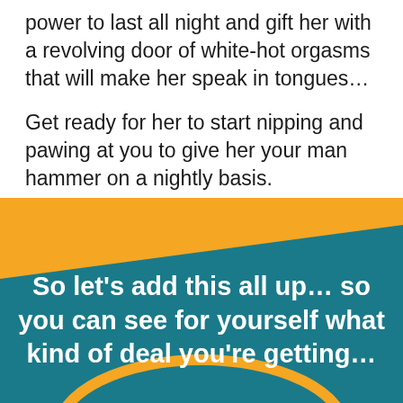power to last all night and gift her with a revolving door of white-hot orgasms that will make her speak in tongues…
Get ready for her to start nipping and pawing at you to give her your man hammer on a nightly basis.
So let's add this all up… so you can see for yourself what kind of deal you're getting…